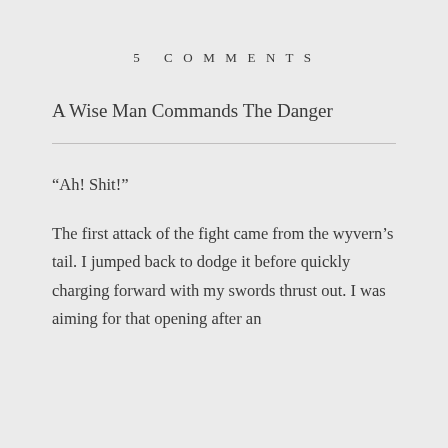5  COMMENTS
A Wise Man Commands The Danger
“Ah! Shit!”
The first attack of the fight came from the wyvern’s tail. I jumped back to dodge it before quickly charging forward with my swords thrust out. I was aiming for that opening after an